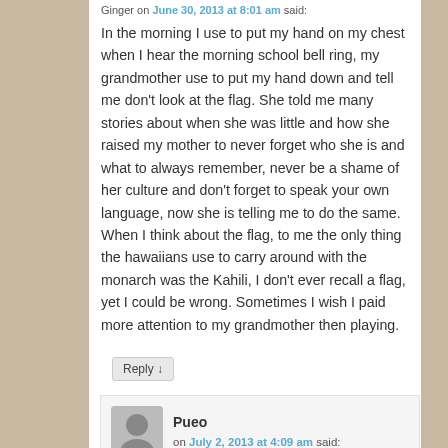Ginger on June 30, 2013 at 8:01 am said:
In the morning I use to put my hand on my chest when I hear the morning school bell ring, my grandmother use to put my hand down and tell me don't look at the flag. She told me many stories about when she was little and how she raised my mother to never forget who she is and what to always remember, never be a shame of her culture and don't forget to speak your own language, now she is telling me to do the same. When I think about the flag, to me the only thing the hawaiians use to carry around with the monarch was the Kahili, I don't ever recall a flag, yet I could be wrong. Sometimes I wish I paid more attention to my grandmother then playing.
Reply ↓
Pueo on July 2, 2013 at 4:09 am said: